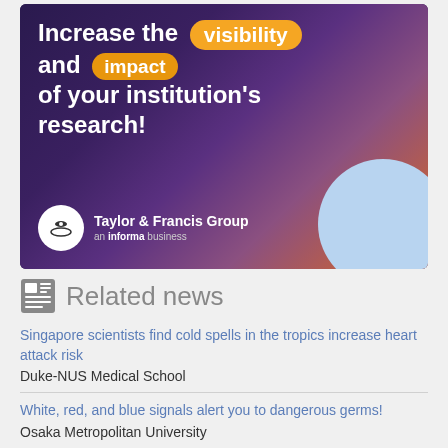[Figure (illustration): Taylor & Francis Group advertisement banner with dark purple background, hand holding door knob image, orange highlighted badges for 'visibility' and 'impact', headline 'Increase the visibility and impact of your institution's research!', Taylor & Francis Group logo with an informa business tagline, and a light blue circle decoration in the bottom right.]
Related news
Singapore scientists find cold spells in the tropics increase heart attack risk
Duke-NUS Medical School
White, red, and blue signals alert you to dangerous germs!
Osaka Metropolitan University